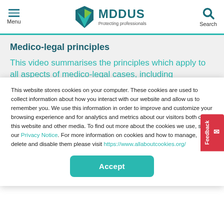MDDUS — Protecting professionals
Medico-legal principles
This video summarises the principles which apply to all aspects of medico-legal cases, including negligence claims, complaints, GMC investigations and inquiries into death.
This website stores cookies on your computer. These cookies are used to collect information about how you interact with our website and allow us to remember you. We use this information in order to improve and customize your browsing experience and for analytics and metrics about our visitors both on this website and other media. To find out more about the cookies we use, see our Privacy Notice. For more information on cookies and how to manage, delete and disable them please visit https://www.allaboutcookies.org/